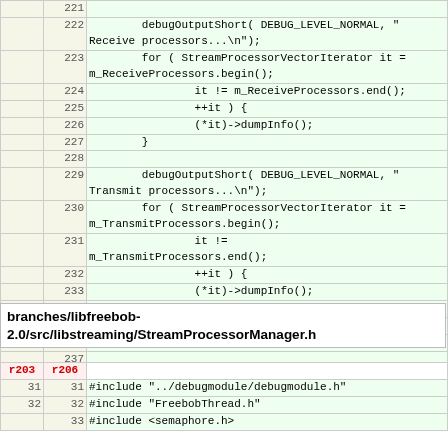|  |  | code |
| --- | --- | --- |
|  | 221 |  |
|  | 222 |         debugOutputShort( DEBUG_LEVEL_NORMAL, "Receive processors...\n"); |
|  | 223 |         for ( StreamProcessorVectorIterator it = m_ReceiveProcessors.begin(); |
|  | 224 |                 it != m_ReceiveProcessors.end(); |
|  | 225 |                 ++it ) { |
|  | 226 |                 (*it)->dumpInfo(); |
|  | 227 |         } |
|  | 228 |  |
|  | 229 |         debugOutputShort( DEBUG_LEVEL_NORMAL, "Transmit processors...\n"); |
|  | 230 |         for ( StreamProcessorVectorIterator it = m_TransmitProcessors.begin(); |
|  | 231 |                 it != m_TransmitProcessors.end(); |
|  | 232 |                 ++it ) { |
|  | 233 |                 (*it)->dumpInfo(); |
|  | 234 |         } |
|  | 235 |  |
|  | 236 | } |
|  | 237 |  |
| 108 | 238 | } // end of namespace |
branches/libfreebob-2.0/src/libstreaming/StreamProcessorManager.h
| r203 | r206 | code |
| --- | --- | --- |
| 31 | 31 | #include "../debugmodule/debugmodule.h" |
| 32 | 32 | #include "FreebobThread.h" |
|  | 33 | #include <semaphore.h> |